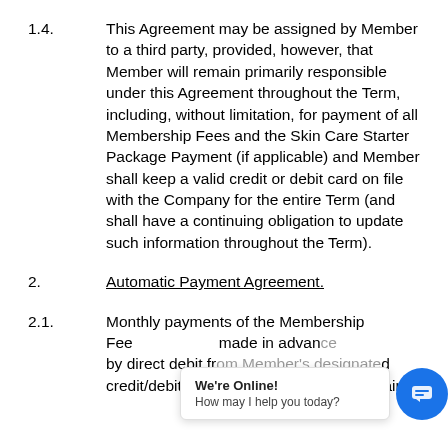1.4. This Agreement may be assigned by Member to a third party, provided, however, that Member will remain primarily responsible under this Agreement throughout the Term, including, without limitation, for payment of all Membership Fees and the Skin Care Starter Package Payment (if applicable) and Member shall keep a valid credit or debit card on file with the Company for the entire Term (and shall have a continuing obligation to update such information throughout the Term).
2. Automatic Payment Agreement.
2.1. Monthly payments of the Membership Fee are made in advance by direct debit from Member's designated credit/debit account. Company will maintain